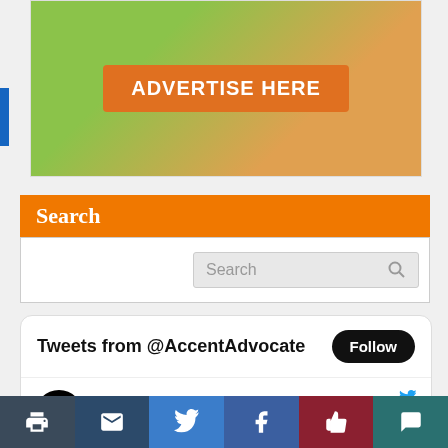[Figure (other): Advertisement banner with orange 'ADVERTISE HERE' button on a green and tan background with a cat and orange drink]
Search
[Figure (screenshot): Search input box with placeholder text 'Search' and magnifying glass icon]
Tweets from @AccentAdvocate
CCC Advocate @AccentAdvocate · May 8
Contra Costa College was proud to formally open its new science center this past Thursday with a ribbon-cutting ceremony. Here's a look at some of the festivities!